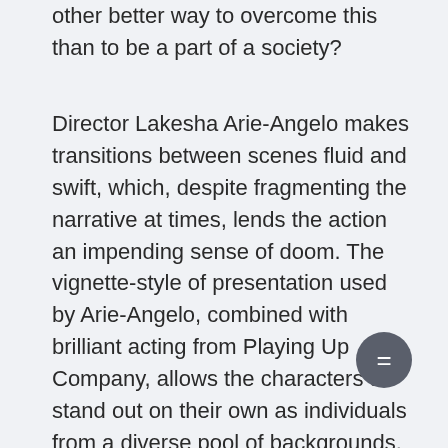other better way to overcome this than to be a part of a society?
Director Lakesha Arie-Angelo makes transitions between scenes fluid and swift, which, despite fragmenting the narrative at times, lends the action an impending sense of doom. The vignette-style of presentation used by Arie-Angelo, combined with brilliant acting from Playing Up Company, allows the characters to stand out on their own as individuals from a diverse pool of backgrounds. However, their differences are also the cause of their discomfort, taking form in the toxic culture of hazing. ‘If you’re to succeed in a society, you’ve got to respect the rules,’ is the conclusive statement Sasha